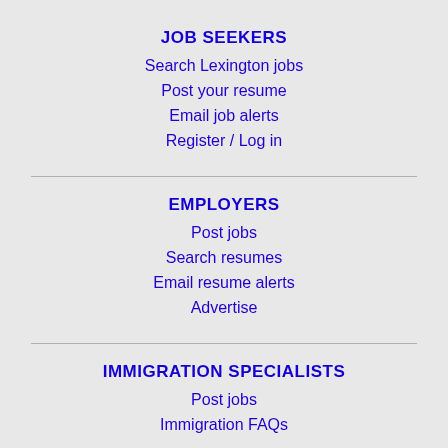JOB SEEKERS
Search Lexington jobs
Post your resume
Email job alerts
Register / Log in
EMPLOYERS
Post jobs
Search resumes
Email resume alerts
Advertise
IMMIGRATION SPECIALISTS
Post jobs
Immigration FAQs